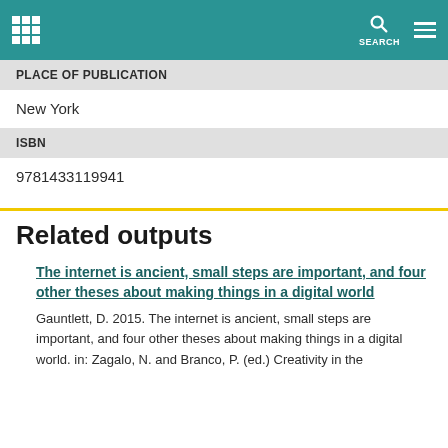SEARCH
PLACE OF PUBLICATION
New York
ISBN
9781433119941
Related outputs
The internet is ancient, small steps are important, and four other theses about making things in a digital world
Gauntlett, D. 2015. The internet is ancient, small steps are important, and four other theses about making things in a digital world. in: Zagalo, N. and Branco, P. (ed.) Creativity in the Digital Age